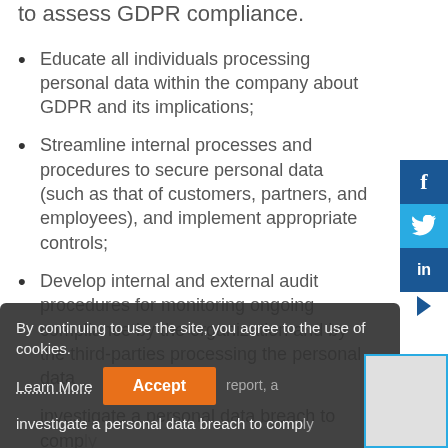to assess GDPR compliance.
Educate all individuals processing personal data within the company about GDPR and its implications;
Streamline internal processes and procedures to secure personal data (such as that of customers, partners, and employees), and implement appropriate controls;
Develop internal and external audit procedures for monitoring ongoing compliance by the organization and by the third-parties processing the personal data
By continuing to use the site, you agree to the use of cookies. Learn More
investigate a personal data breach to comp...